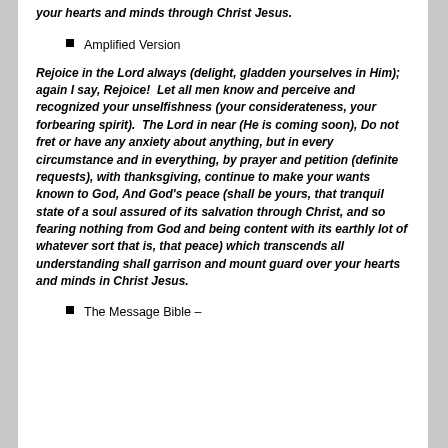your hearts and minds through Christ Jesus.
Amplified Version
Rejoice in the Lord always (delight, gladden yourselves in Him); again I say, Rejoice!  Let all men know and perceive and recognized your unselfishness (your considerateness, your forbearing spirit).  The Lord in near (He is coming soon), Do not fret or have any anxiety about anything, but in every circumstance and in everything, by prayer and petition (definite requests), with thanksgiving, continue to make your wants known to God, And God's peace (shall be yours, that tranquil state of a soul assured of its salvation through Christ, and so fearing nothing from God and being content with its earthly lot of whatever sort that is, that peace) which transcends all understanding shall garrison and mount guard over your hearts and minds in Christ Jesus.
The Message Bible –